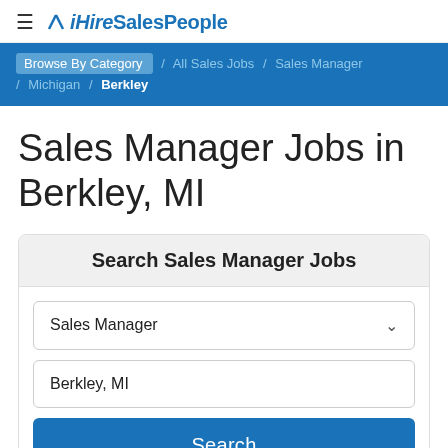≡ ✕ iHireSalesPeople
Browse By Category / All Sales Jobs / Sales Manager / Michigan / Berkley
Sales Manager Jobs in Berkley, MI
Search Sales Manager Jobs
Sales Manager
Berkley, MI
Search